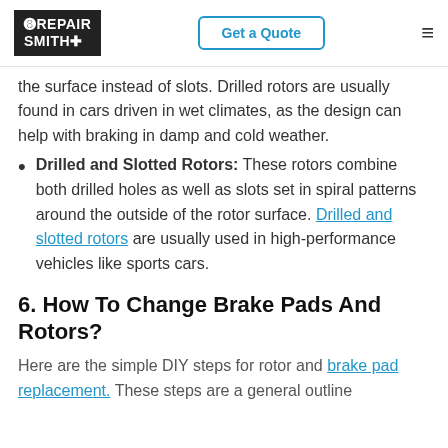RepairSmith | Get a Quote
the surface instead of slots. Drilled rotors are usually found in cars driven in wet climates, as the design can help with braking in damp and cold weather.
Drilled and Slotted Rotors: These rotors combine both drilled holes as well as slots set in spiral patterns around the outside of the rotor surface. Drilled and slotted rotors are usually used in high-performance vehicles like sports cars.
6. How To Change Brake Pads And Rotors?
Here are the simple DIY steps for rotor and brake pad replacement. These steps are a general outline